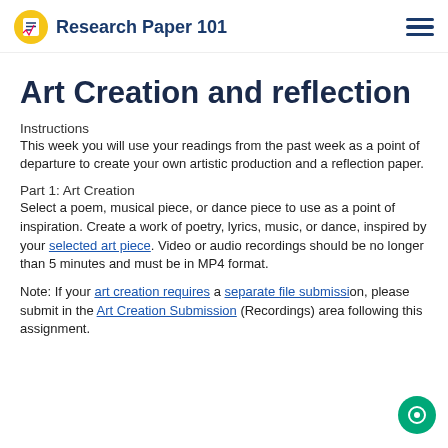Research Paper 101
Art Creation and reflection
Instructions
This week you will use your readings from the past week as a point of departure to create your own artistic production and a reflection paper.
Part 1: Art Creation
Select a poem, musical piece, or dance piece to use as a point of inspiration. Create a work of poetry, lyrics, music, or dance, inspired by your selected art piece. Video or audio recordings should be no longer than 5 minutes and must be in MP4 format.
Note: If your art creation requires a separate file submission, please submit in the Art Creation Submission (Recordings) area following this assignment.